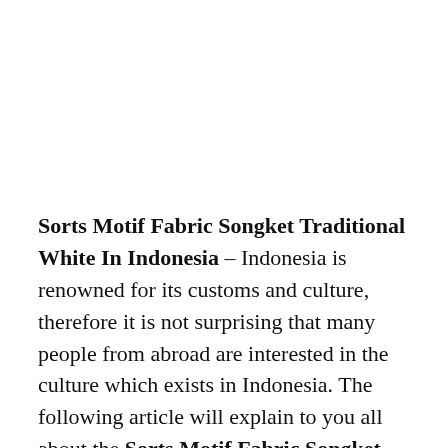Sorts Motif Fabric Songket Traditional White In Indonesia – Indonesia is renowned for its customs and culture, therefore it is not surprising that many people from abroad are interested in the culture which exists in Indonesia. The following article will explain to you all about the Sorts Motif Fabric Songket Traditional White In Indonesia in Indonesia which are known in other countries. Woven